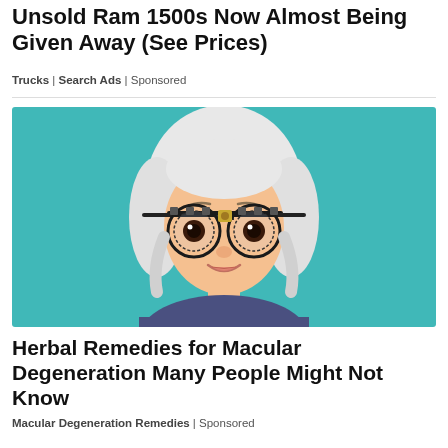Unsold Ram 1500s Now Almost Being Given Away (See Prices)
Trucks | Search Ads | Sponsored
[Figure (illustration): Cartoon illustration of an elderly woman with white/silver hair wearing trial frame ophthalmic testing glasses (phoropter trial frame), smiling, against a teal/turquoise background, wearing a dark blue/purple top]
Herbal Remedies for Macular Degeneration Many People Might Not Know
Macular Degeneration Remedies | Sponsored